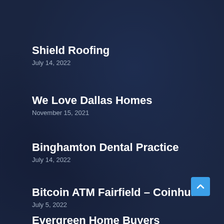Shield Roofing
July 14, 2022
We Love Dallas Homes
November 15, 2021
Binghamton Dental Practice
July 14, 2022
Bitcoin ATM Fairfield – Coinhub
July 5, 2022
Evergreen Home Buyers
May 18, 2022